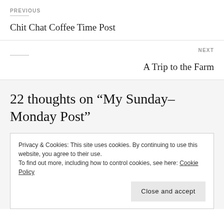PREVIOUS
Chit Chat Coffee Time Post
NEXT
A Trip to the Farm
22 thoughts on “My Sunday-Monday Post”
Privacy & Cookies: This site uses cookies. By continuing to use this website, you agree to their use.
To find out more, including how to control cookies, see here: Cookie Policy
Close and accept